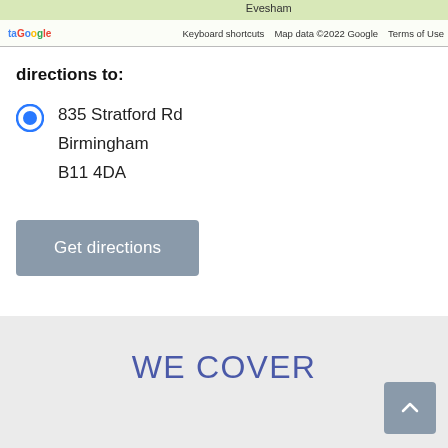[Figure (screenshot): Google Maps strip showing partial map view with 'Evesham' label, keyboard shortcuts, map data copyright 2022 Google, and Terms of Use footer bar]
directions to:
835 Stratford Rd
Birmingham
B11 4DA
Get directions
WE COVER